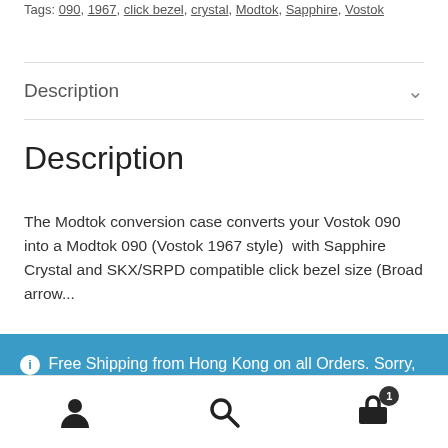Tags: 090, 1967, click bezel, crystal, Modtok, Sapphire, Vostok
Description
Description
The Modtok conversion case converts your Vostok 090 into a Modtok 090 (Vostok 1967 style)  with Sapphire Crystal and SKX/SRPD compatible click bezel size (Broad arrow...
ⓘ Free Shipping from Hong Kong on all Orders. Sorry, no post to Russia at this time.
Dismiss